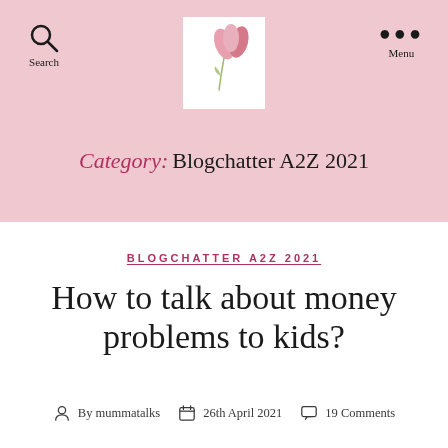Search  [logo]  Menu
Category: Blogchatter A2Z 2021
BLOGCHATTER A2Z 2021
How to talk about money problems to kids?
By mummatalks  26th April 2021  19 Comments